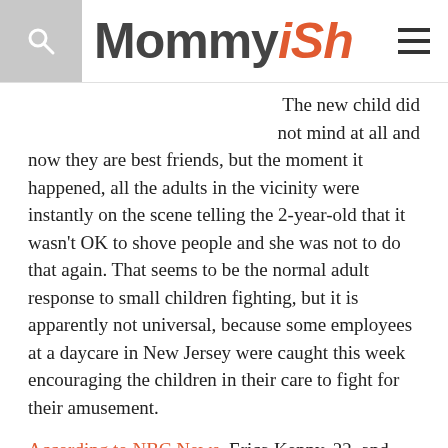Mommyish
The new child did not mind at all and now they are best friends, but the moment it happened, all the adults in the vicinity were instantly on the scene telling the 2-year-old that it wasn't OK to shove people and she was not to do that again. That seems to be the normal adult response to small children fighting, but it is apparently not universal, because some employees at a daycare in New Jersey were caught this week encouraging the children in their care to fight for their amusement.
According to NBC News, Erica Kenny, 22, and Chanese White, 28, wereÂ two employees at the Lightbridge Academy in New Jersey when they allegedly started a massive toddler brawl and filmed everything for Snapchat.
Prosecutors say one of the videos Kenny recorded appears to